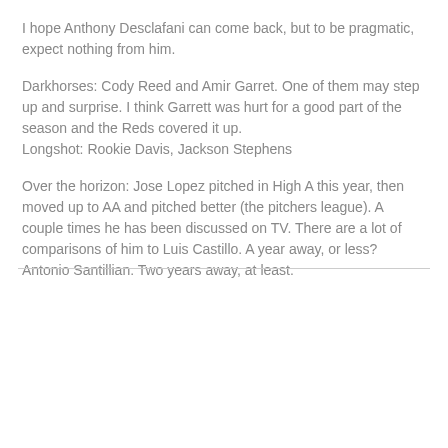I hope Anthony Desclafani can come back, but to be pragmatic, expect nothing from him.
Darkhorses: Cody Reed and Amir Garret. One of them may step up and surprise. I think Garrett was hurt for a good part of the season and the Reds covered it up.
Longshot: Rookie Davis, Jackson Stephens
Over the horizon: Jose Lopez pitched in High A this year, then moved up to AA and pitched better (the pitchers league). A couple times he has been discussed on TV. There are a lot of comparisons of him to Luis Castillo. A year away, or less? Antonio Santillian. Two years away, at least.